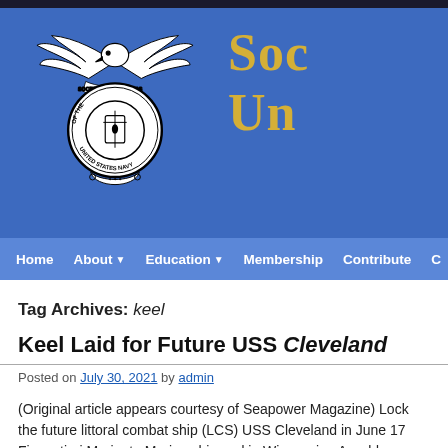[Figure (logo): Society of Sponsors of the United States Navy seal/emblem - black and white eagle with circular medallion]
Soc Un
Home | About | Education | Membership | Contribute | C
Tag Archives: keel
Keel Laid for Future USS Cleveland
Posted on July 30, 2021 by admin
(Original article appears courtesy of Seapower Magazine) Lock the future littoral combat ship (LCS) USS Cleveland in June 17 Fincantieri Marinete Marine shipyard in Wisconsin.  A welder a